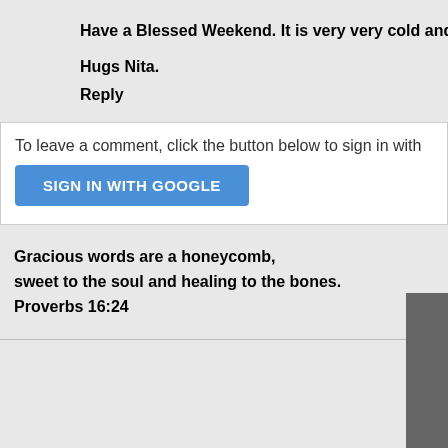Have a Blessed Weekend. It is very very cold and wintry her
Hugs Nita.
Reply
To leave a comment, click the button below to sign in with
SIGN IN WITH GOOGLE
Gracious words are a honeycomb,
sweet to the soul and healing to the bones.
Proverbs 16:24
[Figure (other): Dark gray rectangular block at bottom right corner]